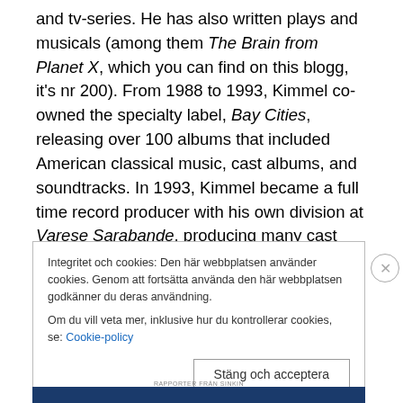and tv-series. He has also written plays and musicals (among them The Brain from Planet X, which you can find on this blogg, it's nr 200). From 1988 to 1993, Kimmel co-owned the specialty label, Bay Cities, releasing over 100 albums that included American classical music, cast albums, and soundtracks. In 1993, Kimmel became a full time record producer with his own division at Varese Sarabande, producing many cast albums (Broadway and off-Broadway), Broadway singers, and musical theater concept albums, first for the Varese Sarabande, and then
Integritet och cookies: Den här webbplatsen använder cookies. Genom att fortsätta använda den här webbplatsen godkänner du deras användning.
Om du vill veta mer, inklusive hur du kontrollerar cookies, se: Cookie-policy
Stäng och acceptera